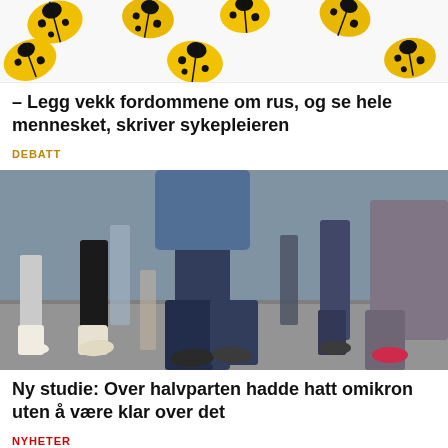[Figure (photo): Yellow ladybugs with black spots on a white background, viewed from above]
– Legg vekk fordommene om rus, og se hele mennesket, skriver sykepleieren
DEBATT
[Figure (photo): Blurred motion photo of people walking on a street, showing legs and feet at ground level]
Ny studie: Over halvparten hadde hatt omikron uten å være klar over det
NYHETER